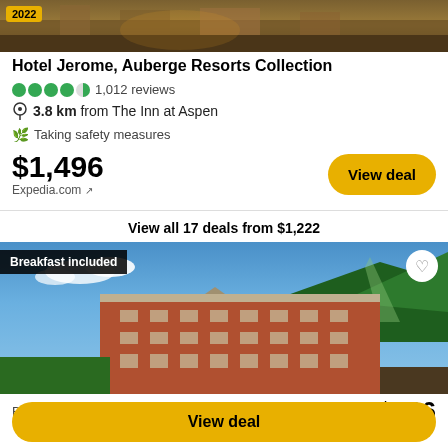[Figure (photo): Exterior street photo of Hotel Jerome area, Aspen, with year badge 2022]
Hotel Jerome, Auberge Resorts Collection
1,012 reviews
3.8 km from The Inn at Aspen
Taking safety measures
$1,496
Expedia.com ↗
View deal
View all 17 deals from $1,222
[Figure (photo): Exterior photo of a historic red brick hotel building with green mountains in the background, Aspen. Badge: Breakfast included.]
Booking.com ↗
$226
View deal